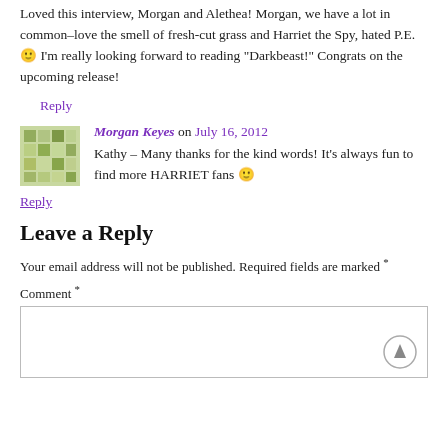Loved this interview, Morgan and Alethea! Morgan, we have a lot in common–love the smell of fresh-cut grass and Harriet the Spy, hated P.E. 🙂 I'm really looking forward to reading "Darkbeast!" Congrats on the upcoming release!
Reply
Morgan Keyes on July 16, 2012
Kathy – Many thanks for the kind words! It's always fun to find more HARRIET fans 🙂
Reply
Leave a Reply
Your email address will not be published. Required fields are marked *
Comment *